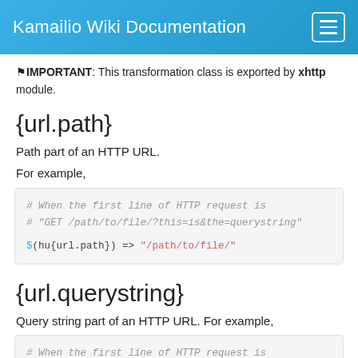Kamailio Wiki Documentation
⚑IMPORTANT: This transformation class is exported by xhttp module.
{url.path}
Path part of an HTTP URL.
For example,
# When the first line of HTTP request is
# "GET /path/to/file/?this=is&the=querystring"

$(hu{url.path}) => "/path/to/file/"
{url.querystring}
Query string part of an HTTP URL. For example,
# When the first line of HTTP request is